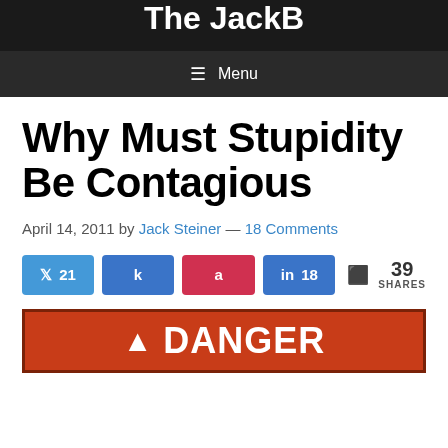The JackB
Menu
Why Must Stupidity Be Contagious
April 14, 2011 by Jack Steiner — 18 Comments
[Figure (infographic): Social share buttons: Twitter 21, Facebook (k icon), Pinterest (a icon), LinkedIn 18, and total 39 SHARES]
[Figure (infographic): Red danger sign banner with triangle warning icon and text DANGER]